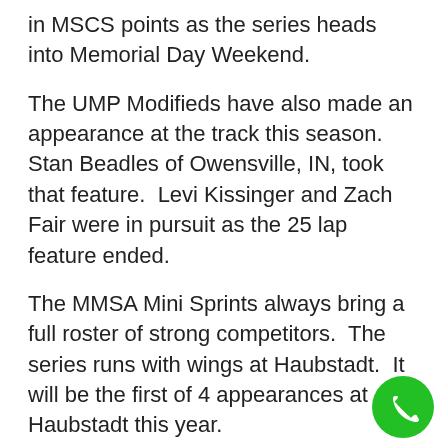in MSCS points as the series heads into Memorial Day Weekend.
The UMP Modifieds have also made an appearance at the track this season.  Stan Beadles of Owensville, IN, took that feature.  Levi Kissinger and Zach Fair were in pursuit as the 25 lap feature ended.
The MMSA Mini Sprints always bring a full roster of strong competitors.  The series runs with wings at Haubstadt.  It will be the first of 4 appearances at Haubstadt this year.
Times have been posted for the MEMORIAL WEEKEND CLASSIC.  Warm ups and group qualifying begin at 6 P.M. with racing to follow at 7:30 P.M.  Haubstadt is in the Central Time zone.  Admission is $20 for adults and it is $15 for students.  Children 12 and under will be admitted free.
This is a great opportunity to enjoy all the action that open wheel racing can and does provide.  Memorial Weekend would not be complete without being at a